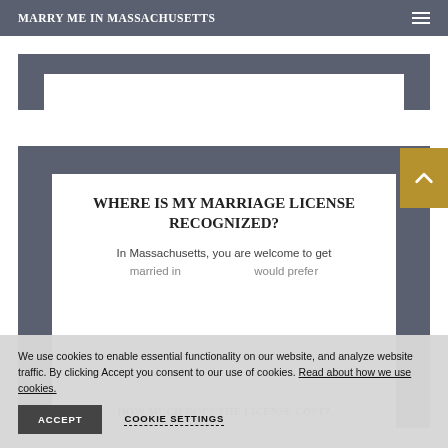MARRY ME IN MASSACHUSETTS
[Figure (screenshot): Top banner decorative graphic with gray background and white inner area suggesting a photo/image placeholder]
WHERE IS MY MARRIAGE LICENSE RECOGNIZED?
In Massachusetts, you are welcome to get married in ... you would prefer ... license.
HOW MUCH DOES THE LICENSE COST?
We use cookies to enable essential functionality on our website, and analyze website traffic. By clicking Accept you consent to our use of cookies. Read about how we use cookies.